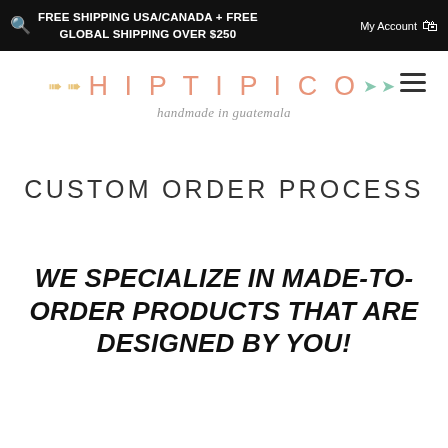FREE SHIPPING USA/CANADA + FREE GLOBAL SHIPPING OVER $250   My Account
[Figure (logo): Hiptipico logo with decorative arrows, text 'HIPTIPICO' in salmon/coral color and tagline 'handmade in guatemala' in cursive]
CUSTOM ORDER PROCESS
WE SPECIALIZE IN MADE-TO-ORDER PRODUCTS THAT ARE DESIGNED BY YOU!